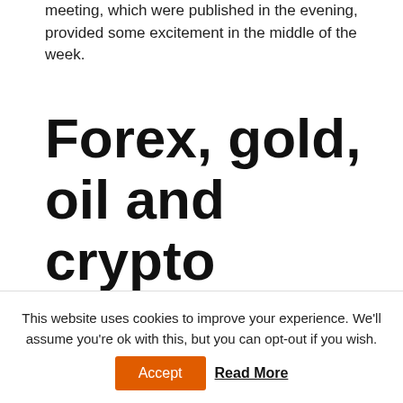meeting, which were published in the evening, provided some excitement in the middle of the week.
Forex, gold, oil and crypto
On the foreign exchange market, the euro remains under pressure against the US
This website uses cookies to improve your experience. We'll assume you're ok with this, but you can opt-out if you wish.
Accept
Read More